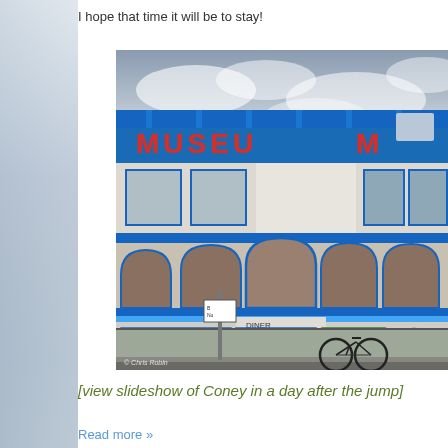I hope that time it will be to stay!
[Figure (photo): Photograph of a blue and white building facade with 'MUSEUM' signage, arched windows, and a 'SIDESHOWS' sign at street level. A bicycle is parked in front. Photo credit: © Chris Robin]
[ view slideshow of Coney in a day after the jump]
Read more »